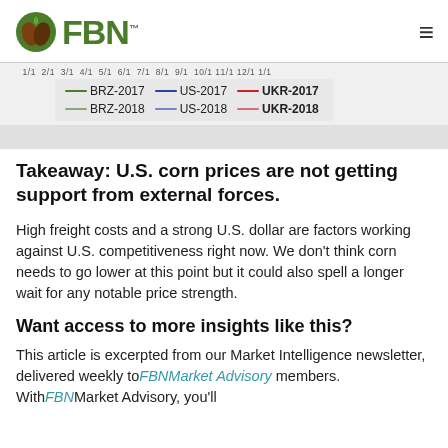FBN
[Figure (other): Chart legend showing BRZ-2017, US-2017, UKR-2017, BRZ-2018, US-2018, UKR-2018 lines with green, blue, and red colors for each year pair, plus x-axis tick marks.]
Takeaway: U.S. corn prices are not getting support from external forces.
High freight costs and a strong U.S. dollar are factors working against U.S. competitiveness right now. We don't think corn needs to go lower at this point but it could also spell a longer wait for any notable price strength.
Want access to more insights like this?
This article is excerpted from our Market Intelligence newsletter, delivered weekly to FBNMarket Advisory members. With FBNMarket Advisory, you'll